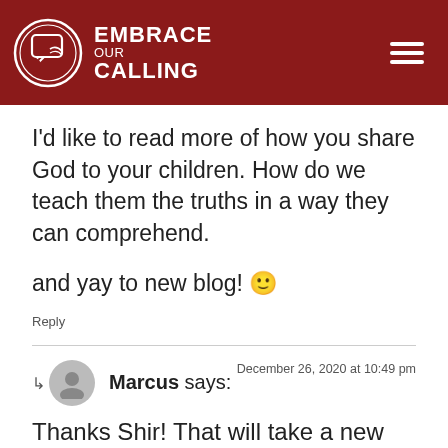EMBRACE OUR CALLING
I'd like to read more of how you share God to your children. How do we teach them the truths in a way they can comprehend.
and yay to new blog! 🙂
Reply
Marcus says:  December 26, 2020 at 10:49 pm
Thanks Shir! That will take a new